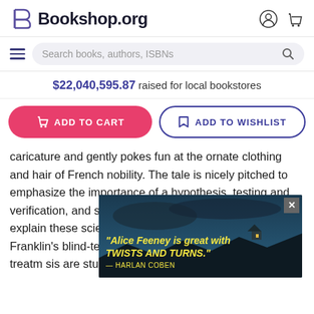Bookshop.org
$22,040,595.87 raised for local bookstores
ADD TO CART | ADD TO WISHLIST
caricature and gently pokes fun at the ornate clothing and hair of French nobility. The tale is nicely pitched to emphasize the importance of a hypothesis, testing and verification, and several inset text boxes are used to explain these scientific tools. Rockliff points out that Franklin's blind-test technique is in use today for medical treatm... ...sis are studied... ...n buoys --Kirku
[Figure (screenshot): Advertisement overlay showing quote: "Alice Feeney is great with TWISTS AND TURNS." —HARLAN COBEN, with dark moody background image of rocky coast]